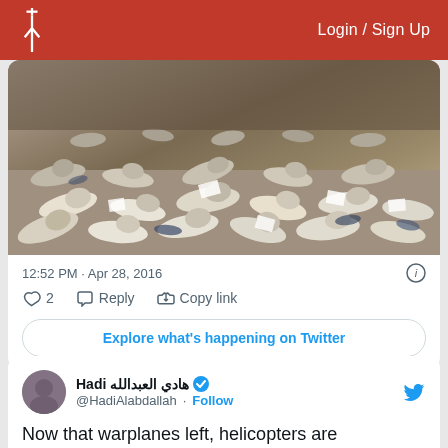Login / Sign Up
[Figure (photo): Protest photo showing many people lying on the ground in a die-in demonstration, viewed from above.]
12:52 PM · Apr 28, 2016
2  Reply  Copy link
Explore what's happening on Twitter
Hadi هادي العبدالله @HadiAlabdallah · Follow
Now that warplanes left, helicopters are